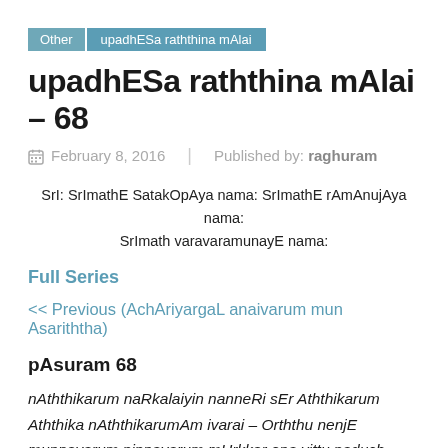Other | upadhESa raththina mAlai
upadhESa raththina mAlai – 68
February 8, 2016 | Published by: raghuram
SrI: SrImathE SatakOpAya nama: SrImathE rAmAnujAya nama: SrImath varavaramunayE nama:
Full Series
<< Previous (AchAriyargaL anaivarum mun Asariththa)
pAsuram 68
nAththikarum naRkalaiyin nanneRi sEr Aththikarum Aththika nAththikarumAm ivarai – Orththu nenjE munnavarum pinnavarum mUrkkar ena vittu paduch